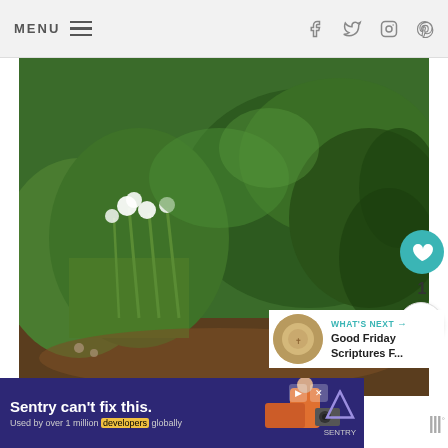MENU  ≡  (social icons: facebook, twitter, instagram, pinterest)
[Figure (photo): Lush green garden scene with white flowers (daffodils/narcissus) and dense green foliage/hedge in the background]
1
[Figure (infographic): WHAT'S NEXT arrow label with thumbnail and text: Good Friday Scriptures F...]
[Figure (screenshot): Advertisement banner: Sentry can't fix this. Used by over 1 million developers globally. Sentry logo.]